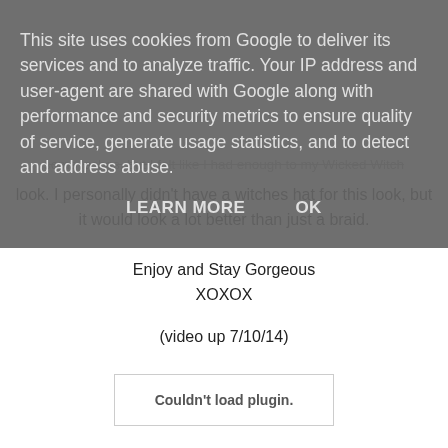This site uses cookies from Google to deliver its services and to analyze traffic. Your IP address and user-agent are shared with Google along with performance and security metrics to ensure quality of service, generate usage statistics, and to detect and address abuse.
LEARN MORE   OK
some lashes, but I felt like I had enough to my Wicked Witch look. I personally didn't have a witches hat for this look, but it would look a lot better than just a braid.
Enjoy and Stay Gorgeous
XOXOX
(video up 7/10/14)
Couldn't load plugin.